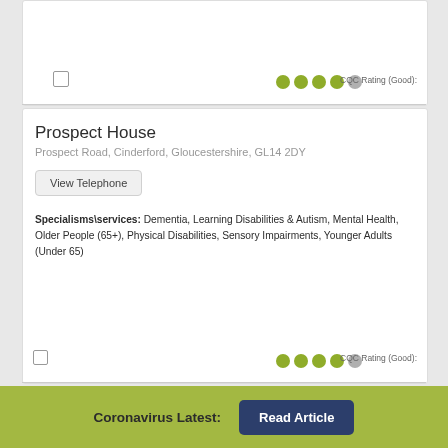CQC Rating (Good):
Prospect House
Prospect Road, Cinderford, Gloucestershire, GL14 2DY
View Telephone
Specialisms\services: Dementia, Learning Disabilities & Autism, Mental Health, Older People (65+), Physical Disabilities, Sensory Impairments, Younger Adults (Under 65)
CQC Rating (Good):
Mr and Mrs T A Mills – 119 Victoria Street
Coronavirus Latest:
Read Article